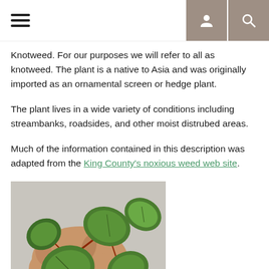Navigation bar with hamburger menu and icons
Knotweed. For our purposes we will refer to all as knotweed. The plant is a native to Asia and was originally imported as an ornamental screen or hedge plant.
The plant lives in a wide variety of conditions including streambanks, roadsides, and other moist distrubed areas.
Much of the information contained in this description was adapted from the King County's noxious weed web site.
[Figure (photo): A hand holding large green knotweed leaves with red stems against a pale background]